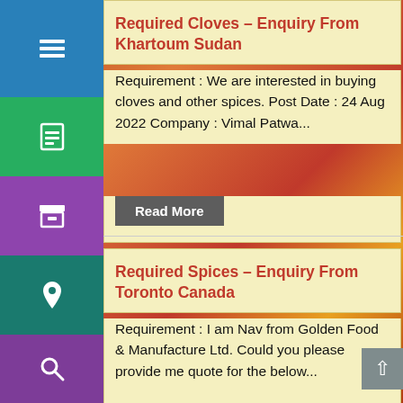Required Cloves – Enquiry From Khartoum Sudan
Requirement : We are interested in buying cloves and other spices. Post Date : 24 Aug 2022 Company : Vimal Patwa...
Read More
Required Spices – Enquiry From Toronto Canada
Requirement : I am Nav from Golden Food & Manufacture Ltd. Could you please provide me quote for the below...